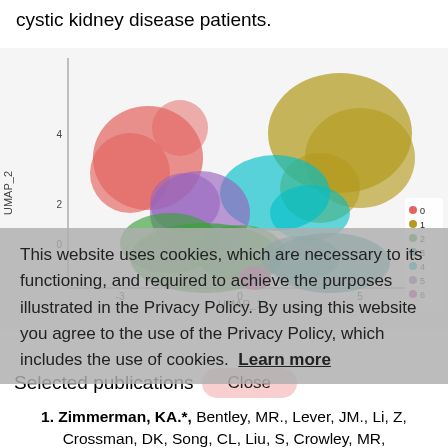cystic kidney disease patients.
[Figure (continuous-plot): UMAP scatter plot showing clusters 0-6 of single-cell data from cystic kidney disease patients. Clusters are color-coded: 0=red/salmon, 1=olive/yellow, 2=green, 3=teal, 4=cyan/light blue, 5=purple, 6=magenta. Axes labeled UMAP_1 (x) and UMAP_2 (y). Legend on the right side.]
This website uses cookies, which are necessary to its functioning and required to achieve the purposes illustrated in the Privacy Policy. By using this website you agree to the use of the Privacy Policy, which includes the use of cookies. Learn more
Selected publications
1. Zimmerman, KA.*, Bentley, MR., Lever, JM., Li, Z, Crossman, DK, Song, CL, Liu, S, Crowley, MR,